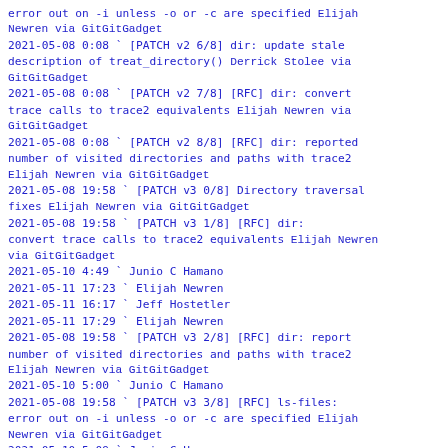error out on -i unless -o or -c are specified Elijah Newren via GitGitGadget
2021-05-08  0:08   ` [PATCH v2 6/8] dir: update stale description of treat_directory() Derrick Stolee via GitGitGadget
2021-05-08  0:08   ` [PATCH v2 7/8] [RFC] dir: convert trace calls to trace2 equivalents Elijah Newren via GitGitGadget
2021-05-08  0:08   ` [PATCH v2 8/8] [RFC] dir: reported number of visited directories and paths with trace2 Elijah Newren via GitGitGadget
2021-05-08 19:58   ` [PATCH v3 0/8] Directory traversal fixes Elijah Newren via GitGitGadget
2021-05-08 19:58     ` [PATCH v3 1/8] [RFC] dir: convert trace calls to trace2 equivalents Elijah Newren via GitGitGadget
2021-05-10  4:49       ` Junio C Hamano
2021-05-11 17:23         ` Elijah Newren
2021-05-11 16:17       ` Jeff Hostetler
2021-05-11 17:29         ` Elijah Newren
2021-05-08 19:58     ` [PATCH v3 2/8] [RFC] dir: report number of visited directories and paths with trace2 Elijah Newren via GitGitGadget
2021-05-10  5:00       ` Junio C Hamano
2021-05-08 19:58     ` [PATCH v3 3/8] [RFC] ls-files: error out on -i unless -o or -c are specified Elijah Newren via GitGitGadget
2021-05-10  5:09       ` Junio C Hamano
2021-05-11 17:40         ` Elijah Newren
2021-05-11 22:32           ` Junio C Hamano